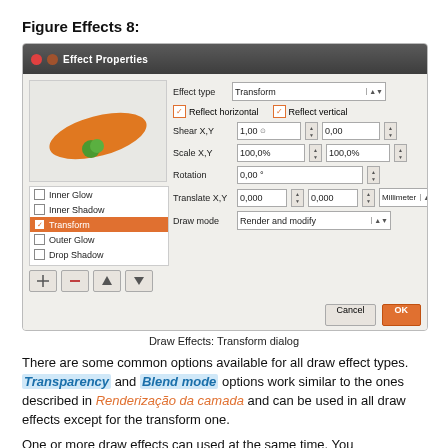Figure Effects 8:
[Figure (screenshot): Draw Effects: Transform dialog showing Effect Properties window with a preview of an orange ellipse shape, a list of effects (Inner Glow, Inner Shadow, Transform selected, Outer Glow, Drop Shadow), and settings for Effect type (Transform), Reflect horizontal, Reflect vertical checkboxes, Shear X,Y, Scale X,Y, Rotation, Translate X,Y fields, Draw mode (Render and modify), Cancel and OK buttons.]
Draw Effects: Transform dialog
There are some common options available for all draw effect types. Transparency and Blend mode options work similar to the ones described in Renderização da camada and can be used in all draw effects except for the transform one.
One or more draw effects can used at the same time. You